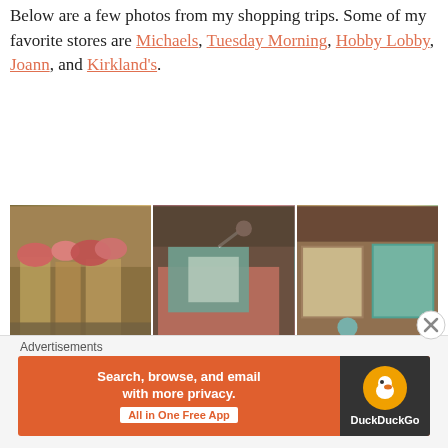Below are a few photos from my shopping trips. Some of my favorite stores are Michaels, Tuesday Morning, Hobby Lobby, Joann, and Kirkland's.
[Figure (photo): A 3x2 grid of six shopping photos showing items from craft and home decor stores: flowers/vases display, decorative frames with bows, gift boxes with messages, framed art pieces, a 'beYOUtiful' floral sign, and colorful gift tins.]
Advertisements
[Figure (photo): DuckDuckGo advertisement banner: orange background with text 'Search, browse, and email with more privacy. All in One Free App' and DuckDuckGo logo on dark right panel.]